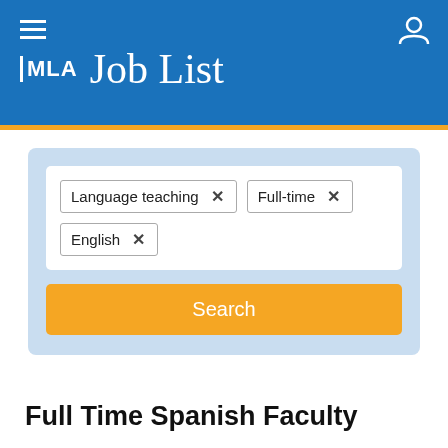MLA Job List
Language teaching × Full-time × English ×
Search
< Back to results
Full Time Spanish Faculty